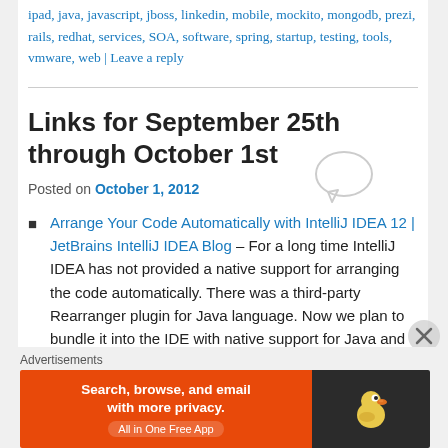ipad, java, javascript, jboss, linkedin, mobile, mockito, mongodb, prezi, rails, redhat, services, SOA, software, spring, startup, testing, tools, vmware, web | Leave a reply
Links for September 25th through October 1st
Posted on October 1, 2012
Arrange Your Code Automatically with IntelliJ IDEA 12 | JetBrains IntelliJ IDEA Blog – For a long time IntelliJ IDEA has not provided a native support for arranging the code automatically. There was a third-party Rearranger plugin for Java language. Now we plan to bundle it into the IDE with native support for Java and other programming languages.
Advertisements
[Figure (other): DuckDuckGo advertisement banner: orange left side with text 'Search, browse, and email with more privacy. All in One Free App' and dark right side with DuckDuckGo duck logo]